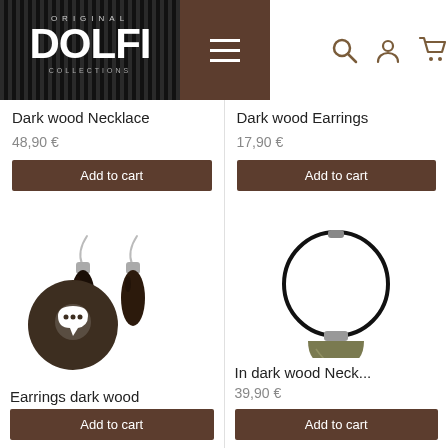[Figure (screenshot): Original Dolfi website header with logo on dark striped background, hamburger menu in brown, and search/account/cart icons]
Dark wood Necklace
48,90 €
Add to cart
Dark wood Earrings
17,90 €
Add to cart
[Figure (photo): Pair of dark wood teardrop earrings with silver hooks]
Earrings dark wood
Add to cart
[Figure (photo): In dark wood necklace with dark olive/khaki half-circle pendant on black cord]
In dark wood Neck...
39,90 €
Add to cart